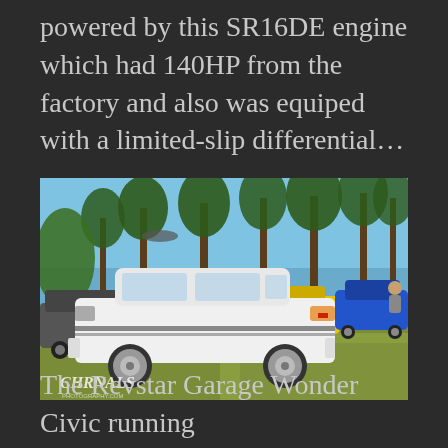powered by this SR16DE engine which had 140HP from the factory and also was equiped with a limited-slip differential…
[Figure (photo): White Honda Civic wagon (Wonder Civic) at an outdoor car show on grass, surrounded by colorful cars including yellow and blue Civics. Palm trees and blue sky in background. Watermark reads CHRNALS.]
The Revstar Garage Wonder Civic running